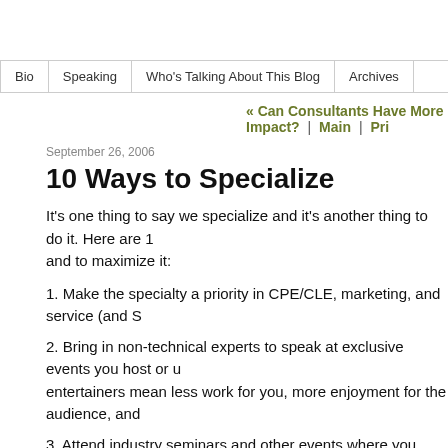Bio | Speaking | Who's Talking About This Blog | Archives
« Can Consultants Have More Impact? | Main | Pri...
September 26, 2006
10 Ways to Specialize
It's one thing to say we specialize and it's another thing to do it. Here are 1 and to maximize it:
1. Make the specialty a priority in CPE/CLE, marketing, and service (and S
2. Bring in non-technical experts to speak at exclusive events you host or u entertainers mean less work for you, more enjoyment for the audience, and
3. Attend industry seminars and other events where you see, or even acco
4. Spend ample time developing processes to most effectively (and profital
5. Continuously add and improve products (services) to solve problems inh
6. Read and write for key print or on-line publications of the industry.
7. Explore, teach, and even help legislate about a variety of topics (meanin within the industry.